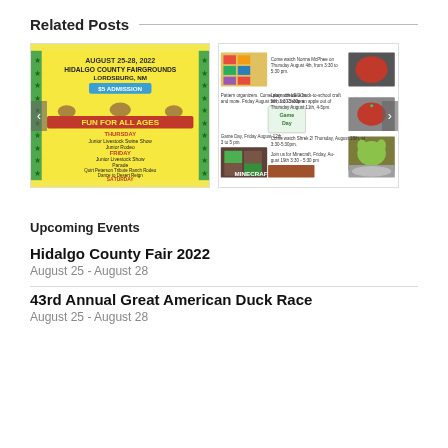Related Posts
[Figure (infographic): Hidalgo County Fairgrounds event poster for August 25-28 2022, yellow and green themed with star decorations listing events Thursday through Saturday including Junior Livestock Swine Show, Junior Rodeo, Junior Livestock Show, Parade, Quirt Peterson Tribute Ranch Rodeo, Dance to Desert Reign, Junior Livestock Sale]
[Figure (screenshot): Library events collage showing multiple small images and text for upcoming library programs including LEGO play, back-to-school craft, Game Day, Minecraft event, and other activities]
Upcoming Events
Hidalgo County Fair 2022
August 25 - August 28
43rd Annual Great American Duck Race
August 25 - August 28